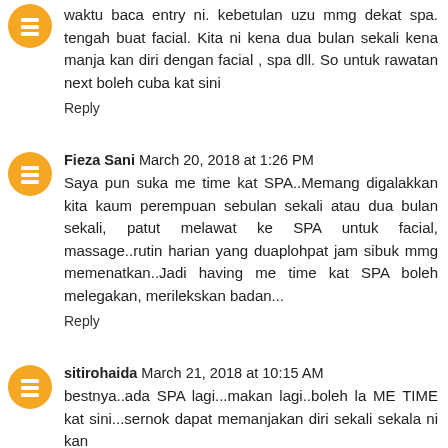waktu baca entry ni. kebetulan uzu mmg dekat spa. tengah buat facial. Kita ni kena dua bulan sekali kena manja kan diri dengan facial , spa dll. So untuk rawatan next boleh cuba kat sini
Reply
Fieza Sani March 20, 2018 at 1:26 PM
Saya pun suka me time kat SPA..Memang digalakkan kita kaum perempuan sebulan sekali atau dua bulan sekali, patut melawat ke SPA untuk facial, massage..rutin harian yang duaplohpat jam sibuk mmg memenatkan..Jadi having me time kat SPA boleh melegakan, merilekskan badan...
Reply
sitirohaida March 21, 2018 at 10:15 AM
bestnya..ada SPA lagi...makan lagi..boleh la ME TIME kat sini...sernok dapat memanjakan diri sekali sekala ni kan
Reply